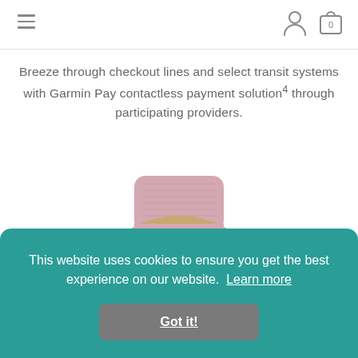Navigation header with hamburger menu, user icon, and cart icon (0 items)
Breeze through checkout lines and select transit systems with Garmin Pay contactless payment solution4 through participating providers.
[Figure (photo): A Garmin smartwatch with a pink/rose band and gold case, shown from the top/side angle. The watch face is partially visible at the bottom.]
This website uses cookies to ensure you get the best experience on our website. Learn more
Got it!